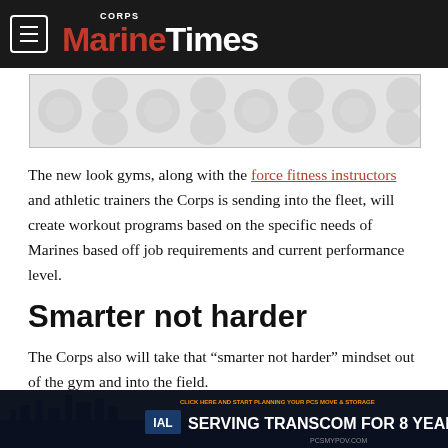Marine Corps Times
[Figure (other): Advertisement banner placeholder with decorative pattern background]
The new look gyms, along with the force fitness instructors and athletic trainers the Corps is sending into the fleet, will create workout programs based on the specific needs of Marines based off job requirements and current performance level.
Smarter not harder
The Corps also will take that “smarter not harder” mindset out of the gym and into the field.
[Figure (other): Advertisement banner: IAL - Serving Transcom for 8 Years, with city skyline background]